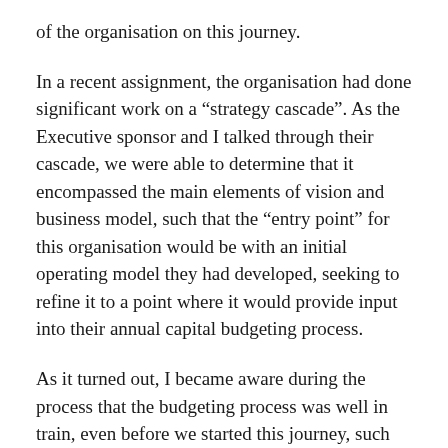of the organisation on this journey.
In a recent assignment, the organisation had done significant work on a “strategy cascade”. As the Executive sponsor and I talked through their cascade, we were able to determine that it encompassed the main elements of vision and business model, such that the “entry point” for this organisation would be with an initial operating model they had developed, seeking to refine it to a point where it would provide input into their annual capital budgeting process.
As it turned out, I became aware during the process that the budgeting process was well in train, even before we started this journey, such that we started describing our activity to those engaged as an assurance process – providing another view on the organisation, the